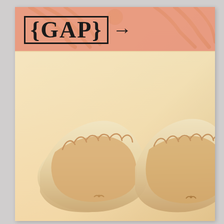[Figure (photo): Photo of two cream/ivory ballet flat shoes with ruched elastic trim, viewed from front/top at an angle, warm golden-toned Instagram-style filter. Background shows light cream and some golden objects at top. Overlaid with a salmon/coral horizontal banner at top containing the GAP logo with curly bracket and arrow symbol.]